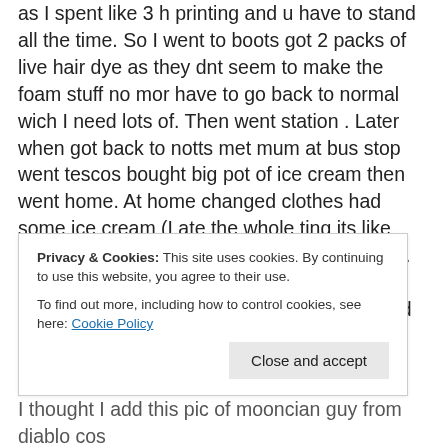as I spent like 3 h printing and u have to stand all the time. So I went to boots got 2 packs of live hair dye as they dnt seem to make the foam stuff no mor have to go back to normal wich I need lots of. Then went station . Later when got back to notts met mum at bus stop went tescos bought big pot of ice cream then went home. At home changed clothes had some ice cream (I ate the whole ting its like 1000 calories) watched the pragnancy packt . Then my lovely friend called tru skype we chated a bit then finaly was bed time watched bit family guy and that was me
Privacy & Cookies: This site uses cookies. By continuing to use this website, you agree to their use. To find out more, including how to control cookies, see here: Cookie Policy
I thought I add this pic of mooncian guy from diablo cos